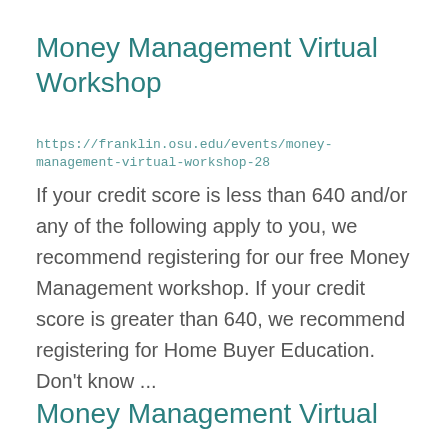Money Management Virtual Workshop
https://franklin.osu.edu/events/money-management-virtual-workshop-28
If your credit score is less than 640 and/or any of the following apply to you, we recommend registering for our free Money Management workshop. If your credit score is greater than 640, we recommend registering for Home Buyer Education. Don't know ...
Money Management Virtual